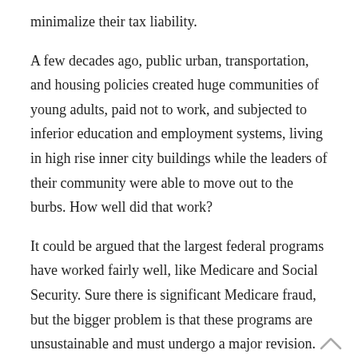minimalize their tax liability.
A few decades ago, public urban, transportation, and housing policies created huge communities of young adults, paid not to work, and subjected to inferior education and employment systems, living in high rise inner city buildings while the leaders of their community were able to move out to the burbs. How well did that work?
It could be argued that the largest federal programs have worked fairly well, like Medicare and Social Security. Sure there is significant Medicare fraud, but the bigger problem is that these programs are unsustainable and must undergo a major revision.
Social programs are layered with bureaucracy and are measured by output instead of outcome. If they were